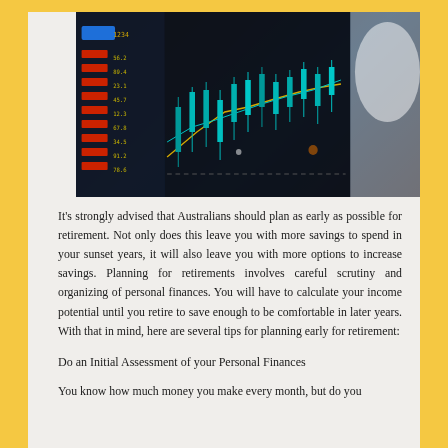[Figure (photo): Close-up photo of a financial trading screen showing candlestick charts with cyan/teal colored candlesticks, yellow trend lines, red and green ticker buttons on the left, with a blurred white background on the right side.]
It's strongly advised that Australians should plan as early as possible for retirement. Not only does this leave you with more savings to spend in your sunset years, it will also leave you with more options to increase savings. Planning for retirements involves careful scrutiny and organizing of personal finances. You will have to calculate your income potential until you retire to save enough to be comfortable in later years. With that in mind, here are several tips for planning early for retirement:
Do an Initial Assessment of your Personal Finances
You know how much money you make every month, but do you